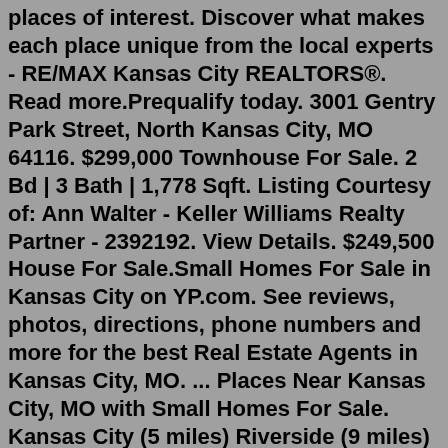places of interest. Discover what makes each place unique from the local experts - RE/MAX Kansas City REALTORS®. Read more.Prequalify today. 3001 Gentry Park Street, North Kansas City, MO 64116. $299,000 Townhouse For Sale. 2 Bd | 3 Bath | 1,778 Sqft. Listing Courtesy of: Ann Walter - Keller Williams Realty Partner - 2392192. View Details. $249,500 House For Sale.Small Homes For Sale in Kansas City on YP.com. See reviews, photos, directions, phone numbers and more for the best Real Estate Agents in Kansas City, MO. ... Places Near Kansas City, MO with Small Homes For Sale. Kansas City (5 miles) Riverside (9 miles) Mission (10 miles) Shawnee Mission (11 miles) Prairie Village (13 miles) Claycomo (14 miles)Real Estate Market Trends in Kansas City, MO Century 21 estimates the median home price in Kansas City is $270,000. Right now, there are 1,471 homes listed for sale in Kansas City, including 175 condos and 3 foreclosures.NEW CONSTRUCTION. $1,348,500. 4 Beds. 4 Baths. 3,824 Sq. Ft. 5742 N Revere Ave, Kansas City, MO 64151